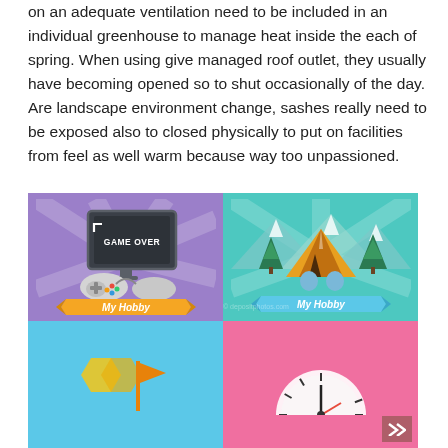on an adequate ventilation need to be included in an individual greenhouse to manage heat inside the each of spring. When using give managed roof outlet, they usually have becoming opened so to shut occasionally of the day. Are landscape environment change, sashes really need to be exposed also to closed physically to put on facilities from feel as well warm because way too unpassioned.
[Figure (illustration): Four-panel grid of hobby-themed illustrations: top-left shows gaming equipment (controller and monitor reading 'GAME OVER') on purple background with orange 'My Hobby' banner; top-right shows camping tent and pine trees on teal background with light blue 'My Hobby' banner; bottom-left shows geometric shapes on light blue background (partially visible); bottom-right shows a clock/compass on pink background (partially visible).]